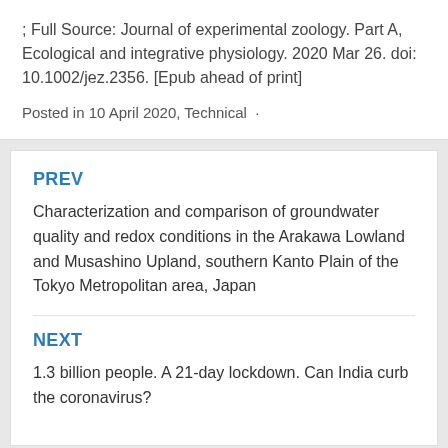; Full Source: Journal of experimental zoology. Part A, Ecological and integrative physiology. 2020 Mar 26. doi: 10.1002/jez.2356. [Epub ahead of print]
Posted in 10 April 2020, Technical ·
PREV
Characterization and comparison of groundwater quality and redox conditions in the Arakawa Lowland and Musashino Upland, southern Kanto Plain of the Tokyo Metropolitan area, Japan
NEXT
1.3 billion people. A 21-day lockdown. Can India curb the coronavirus?